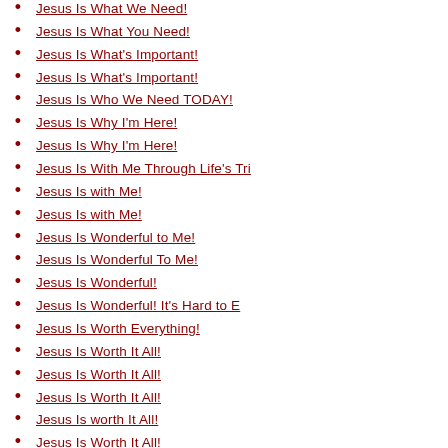Jesus Is What We Need!
Jesus Is What You Need!
Jesus Is What's Important!
Jesus Is What's Important!
Jesus Is Who We Need TODAY!
Jesus Is Why I'm Here!
Jesus Is Why I'm Here!
Jesus Is With Me Through Life's Tri
Jesus Is with Me!
Jesus Is with Me!
Jesus Is Wonderful to Me!
Jesus Is Wonderful To Me!
Jesus Is Wonderful!
Jesus Is Wonderful! It's Hard to E
Jesus Is Worth Everything!
Jesus Is Worth It All!
Jesus Is Worth It All!
Jesus Is Worth It All!
Jesus Is worth It All!
Jesus Is Worth It All!
Jesus Is Worth It All!
Jesus Is Worth It!
Jesus Is Worth It!
Jesus Is Worth It!
Jesus Is Worth It!
Jesus Is Worth It!
Jesus Is Worth Knowing!
Jesus Is Worth Living for!!!
Jesus Is Worth The Cost!
Jesus Is Worthy Of Our Praise!
Jesus Is Your Best Friend!